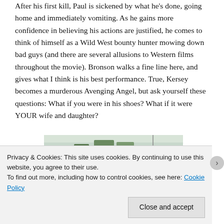After his first kill, Paul is sickened by what he's done, going home and immediately vomiting. As he gains more confidence in believing his actions are justified, he comes to think of himself as a Wild West bounty hunter mowing down bad guys (and there are several allusions to Western films throughout the movie). Bronson walks a fine line here, and gives what I think is his best performance. True, Kersey becomes a murderous Avenging Angel, but ask yourself these questions: What if you were in his shoes? What if it were YOUR wife and daughter?
[Figure (photo): Partial view of a photo showing trees and sky, cropped at top of frame]
Privacy & Cookies: This site uses cookies. By continuing to use this website, you agree to their use.
To find out more, including how to control cookies, see here: Cookie Policy
Close and accept